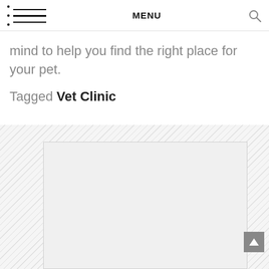MENU
mind to help you find the right place for your pet.
Tagged Vet Clinic
[Figure (other): Advertisement or embedded content placeholder with diagonal hatched background and inner white/light gray rectangle, with a scroll-up arrow button at bottom right.]